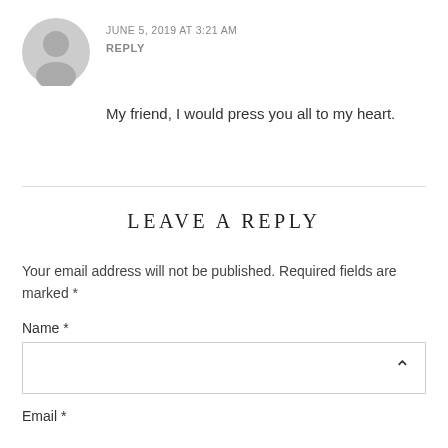JUNE 5, 2019 AT 3:21 AM
REPLY
My friend, I would press you all to my heart.
LEAVE A REPLY
Your email address will not be published. Required fields are marked *
Name *
Email *